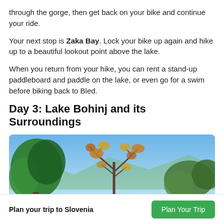through the gorge, then get back on your bike and continue your ride.
Your next stop is Zaka Bay. Lock your bike up again and hike up to a beautiful lookout point above the lake.
When you return from your hike, you can rent a stand-up paddleboard and paddle on the lake, or even go for a swim before biking back to Bled.
Day 3: Lake Bohinj and its Surroundings
[Figure (photo): Outdoor landscape photo showing trees with autumn foliage against a blue sky, with mountains or hills in the background.]
Plan your trip to Slovenia
Plan Your Trip